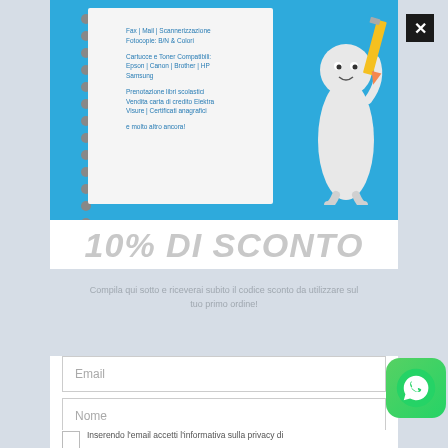[Figure (illustration): Promotional image with blue background showing a spiral notebook with service text and a 3D pencil character holding a yellow pencil]
10% DI SCONTO
Compila qui sotto e riceverai subito il codice sconto da utilizzare sul tuo primo ordine!
[Figure (screenshot): Email input field with placeholder text 'Email']
[Figure (screenshot): Name input field with placeholder text 'Nome']
Inserendo l'email accetti l'informativa sulla privacy di
[Figure (logo): WhatsApp icon button (green rounded square with phone handset logo)]